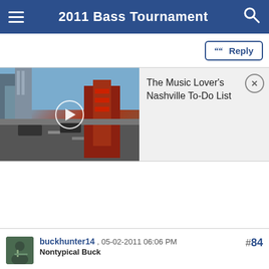2011 Bass Tournament
Reply
[Figure (screenshot): Video thumbnail showing Nashville street scene with play button overlay, next to a card reading 'The Music Lover's Nashville To-Do List' with a close (x) button]
The Music Lover's Nashville To-Do List
buckhunter14 , 05-02-2011 06:06 PM
Nontypical Buck
#84